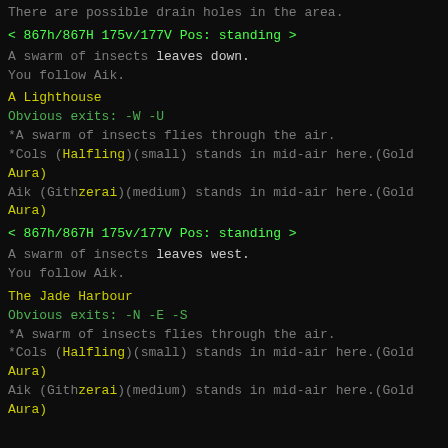There are possible drain holes in the area.
< 867h/867H 175v/177V Pos: standing >
A swarm of insects leaves down.
You follow Aik.
A Lighthouse
Obvious exits: -W -U
*A swarm of insects flies through the air.
*Cols (Halfling)(small) stands in mid-air here.(Gold Aura)
Aik (Githzerai)(medium) stands in mid-air here.(Gold Aura)
< 867h/867H 175v/177V Pos: standing >
A swarm of insects leaves west.
You follow Aik.
The Jade Harbour
Obvious exits: -N -E -S
*A swarm of insects flies through the air.
*Cols (Halfling)(small) stands in mid-air here.(Gold Aura)
Aik (Githzerai)(medium) stands in mid-air here.(Gold Aura)